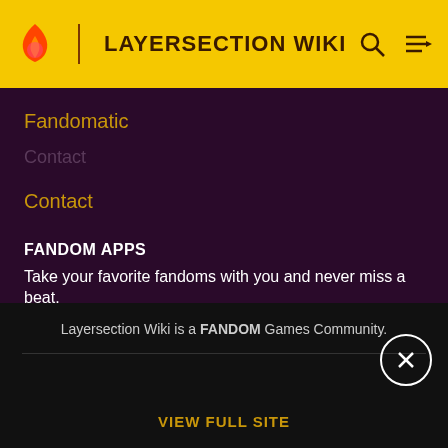LAYERSECTION WIKI
Fandomatic
Contact
FANDOM APPS
Take your favorite fandoms with you and never miss a beat.
[Figure (logo): Fandom app icon — pink/red flame with yellow heart on light beige background]
[Figure (screenshot): Download on the App Store button]
[Figure (screenshot): GET IT ON Google Play button]
Layersection Wiki is a FANDOM Games Community.
VIEW FULL SITE